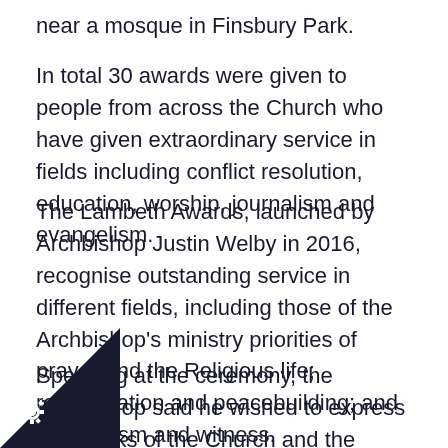near a mosque in Finsbury Park.
In total 30 awards were given to people from across the Church who have given extraordinary service in fields including conflict resolution, education, worship, journalism and evangelism.
The Lambeth Awards, launched by Archbishop Justin Welby in 2016, recognise outstanding service in different fields, including those of the Archbishop's ministry priorities of prayer and the Religious life; reconciliation and peacebuilding; and evangelism and witness.
Speaking at the ceremony, the Archbishop said he wished to express the thanks of the Church and the community for the recipients' outstanding